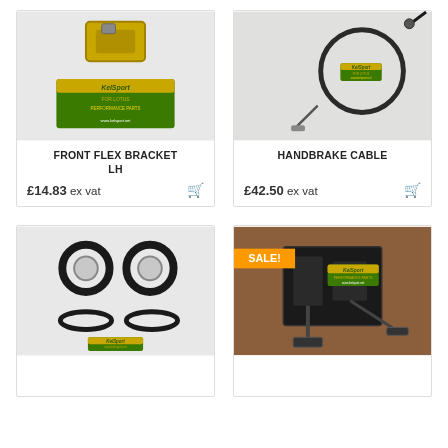[Figure (photo): Photo of Front Flex Bracket LH part with Kelsport For Lotus Performance Parts label]
FRONT FLEX BRACKET LH
£14.83 ex vat
[Figure (photo): Photo of Handbrake Cable with Kelsport For Lotus label]
HANDBRAKE CABLE
£42.50 ex vat
[Figure (photo): Photo of brake caliper seal kit with O-rings and Kelsport label]
[Figure (photo): Photo of pedal box / gear mechanism with Kelsport label, marked SALE!]